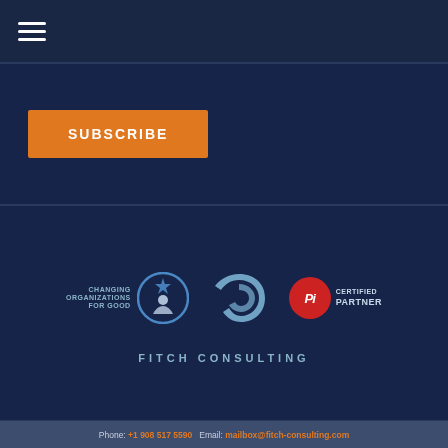[Figure (other): Hamburger menu icon (three horizontal white lines) on dark navy navigation bar]
[Figure (other): Orange SUBSCRIBE button on dark navy background]
[Figure (logo): Three logos side by side: 'Changing Organizations For Good' circular badge on left, Fitch Consulting swirl logo in center, PI Certified Partner badge on right. 'FITCH CONSULTING' text below center logo.]
Phone: +1 908 517 5590   Email: mailbox@fitch-consulting.com
© 2022 Fitch Consulting. All rights reserved. Terms & Conditions.
Sitemap